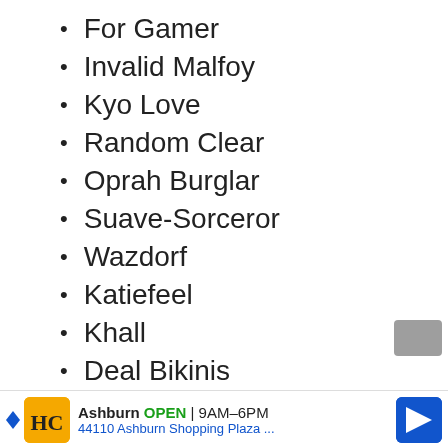For Gamer
Invalid Malfoy
Kyo Love
Random Clear
Oprah Burglar
Suave-Sorceror
Wazdorf
Katiefeel
Khall
Deal Bikinis
Greek the Swag
[Figure (other): Advertisement banner: HC logo (Ashburn), OPEN 9AM-6PM, 44110 Ashburn Shopping Plaza ..., navigation arrow icon]